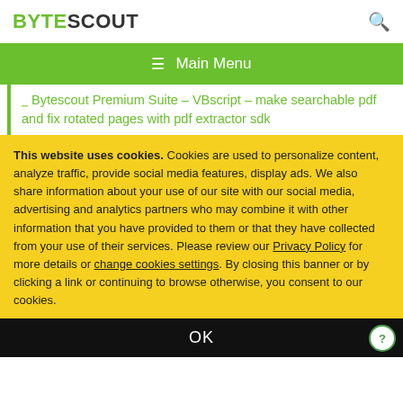BYTESCOUT
≡ Main Menu
Bytescout Premium Suite – VBscript – make searchable pdf and fix rotated pages with pdf extractor sdk
This website uses cookies. Cookies are used to personalize content, analyze traffic, provide social media features, display ads. We also share information about your use of our site with our social media, advertising and analytics partners who may combine it with other information that you have provided to them or that they have collected from your use of their services. Please review our Privacy Policy for more details or change cookies settings. By closing this banner or by clicking a link or continuing to browse otherwise, you consent to our cookies.
OK